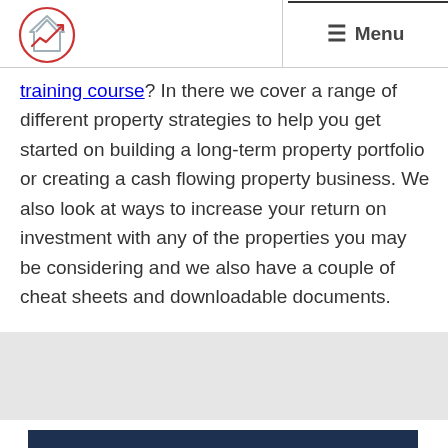Menu
training course? In there we cover a range of different property strategies to help you get started on building a long-term property portfolio or creating a cash flowing property business. We also look at ways to increase your return on investment with any of the properties you may be considering and we also have a couple of cheat sheets and downloadable documents.